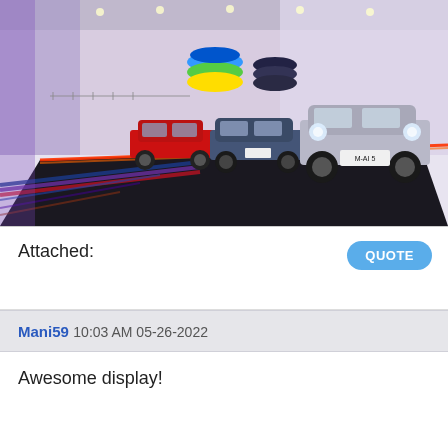[Figure (photo): BMW museum display showing three classic BMW M cars (red BMW M3, blue-grey BMW, silver BMW M5) on a dark platform in a showroom with colourful sculptures on the wall, BMW M-colour floor stripes (blue, purple, red) in the foreground, and glowing red neon light along the platform edge.]
Attached:
QUOTE
Mani59 10:03 AM 05-26-2022
Awesome display!